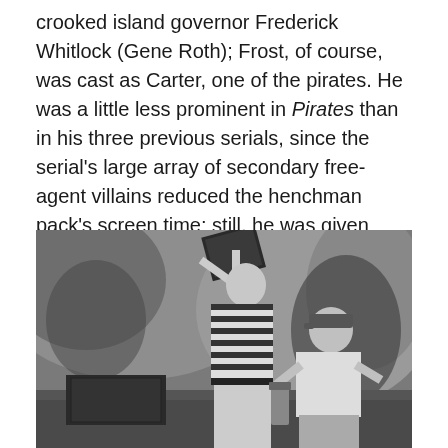crooked island governor Frederick Whitlock (Gene Roth); Frost, of course, was cast as Carter, one of the pirates. He was a little less prominent in Pirates than in his three previous serials, since the serial's large array of secondary free-agent villains reduced the henchman pack's screen time; still, he was given many lines–and many opportunities to take part in fights and shootouts with hero Buster Crabbe.
[Figure (photo): Black and white photograph of two men in a fight scene, set against a rocky cave background. The man on the left wears a striped shirt and raises an object overhead, while the man on the right wears a cap and white shirt and appears to be defending himself.]